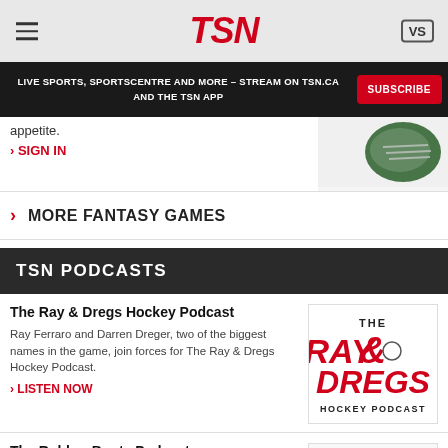TSN
LIVE SPORTS, SPORTSCENTRE AND MORE – STREAM ON TSN.CA AND THE TSN APP
appetite.
› SIGN IN
› MORE FANTASY GAMES
TSN PODCASTS
The Ray & Dregs Hockey Podcast
Ray Ferraro and Darren Dreger, two of the biggest names in the game, join forces for The Ray & Dregs Hockey Podcast.
› LISTEN NOW
[Figure (logo): The Ray & Dregs Hockey Podcast logo - red text on white background]
The Rubber Boots Podcast
James Duthie is joined by TSN staffers Lester McLean, Sean 'Puffy' Cameron and a special guest each episode to chat sports and just about anything else.
[Figure (logo): James Duthie's Rubber Boots podcast logo]